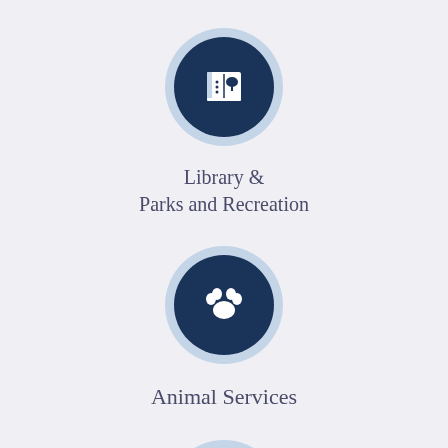[Figure (infographic): Dark navy circle with white book/park icon representing Library & Parks and Recreation]
Library &
Parks and Recreation
[Figure (infographic): Dark navy circle with white paw print icon representing Animal Services]
Animal Services
[Figure (infographic): Dark navy circle with white government/court building icon (partially visible)]